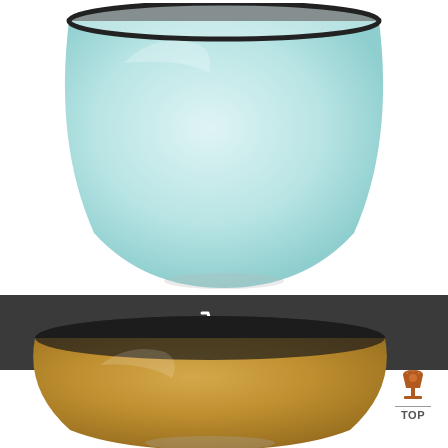[Figure (photo): Light blue enamel metal bowl with dark rim, viewed from the side, on white background]
[Figure (illustration): Dark gray bar with white shopping cart icon in center]
Petit Bol Metal Emaille Bleu Style Retro...
8,50 €
[Figure (photo): Mustard/golden yellow enamel metal bowl with dark rim, viewed from the side at an angle, on white background]
TOP